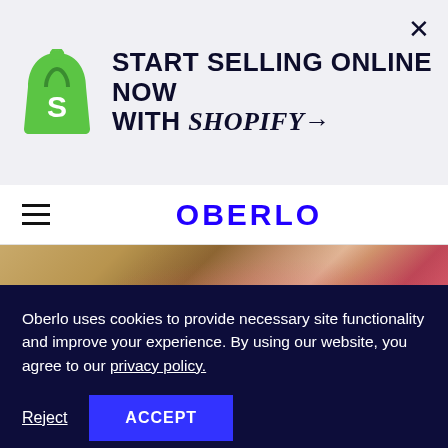[Figure (logo): Shopify bag logo in green with white S letter]
START SELLING ONLINE NOW WITH SHOPIFY→
[Figure (photo): Close-up photo of folded printed merchandise items with red/pink patterns on a wooden surface]
OBERLO
Oberlo uses cookies to provide necessary site functionality and improve your experience. By using our website, you agree to our privacy policy.
Reject
ACCEPT